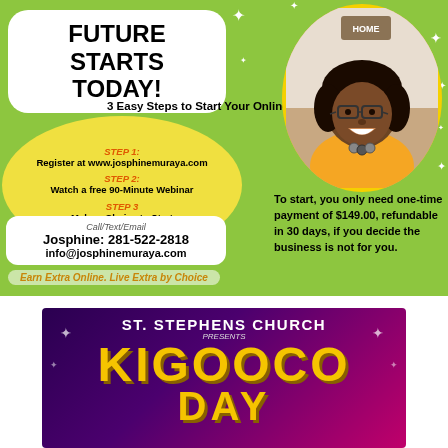FUTURE STARTS TODAY!
3 Easy Steps to Start Your Online Business
STEP 1: Register at www.josphinemuraya.com
STEP 2: Watch a free 90-Minute Webinar
STEP 3 Make a Choice to Start
[Figure (photo): Professional headshot of a smiling woman with glasses and curly hair, wearing an orange top and floral necklace, set in a yellow oval frame]
Call/Text/Email
Josphine: 281-522-2818
info@josphinemuraya.com
To start, you only need one-time payment of $149.00, refundable in 30 days, if you decide the business is not for you.
Earn Extra Online. Live Extra by Choice
[Figure (infographic): Dark purple event flyer for ST. STEPHENS CHURCH PRESENTS KIGOOCO DAY with yellow text on purple/pink background]
ST. STEPHENS CHURCH
PRESENTS
KIGOOCO DAY